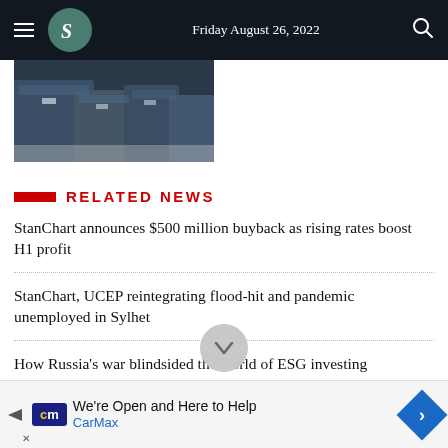Friday August 26, 2022
[Figure (photo): Group of people in formal attire, partial view of photo]
RELATED NEWS
StanChart announces $500 million buyback as rising rates boost H1 profit
StanChart, UCEP reintegrating flood-hit and pandemic unemployed in Sylhet
How Russia's war blindsided the world of ESG investing
We're Open and Here to Help CarMax